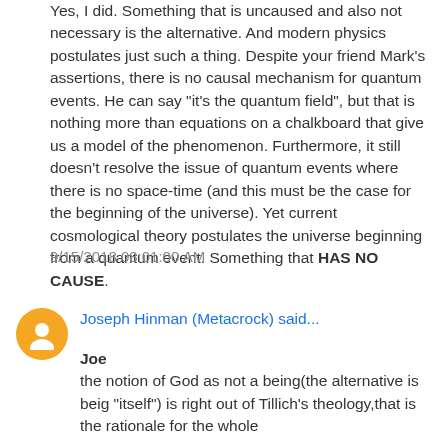Yes, I did. Something that is uncaused and also not necessary is the alternative. And modern physics postulates just such a thing. Despite your friend Mark's assertions, there is no causal mechanism for quantum events. He can say "it's the quantum field", but that is nothing more than equations on a chalkboard that give us a model of the phenomenon. Furthermore, it still doesn't resolve the issue of quantum events where there is no space-time (and this must be the case for the beginning of the universe). Yet current cosmological theory postulates the universe beginning from a quantum event. Something that HAS NO CAUSE.
9/15/2018 08:01:00 AM
Joseph Hinman (Metacrock) said...
Joe
the notion of God as not a being(the alternative is beig "itself") is right out of Tillich's theology,that is the rationale for the whole